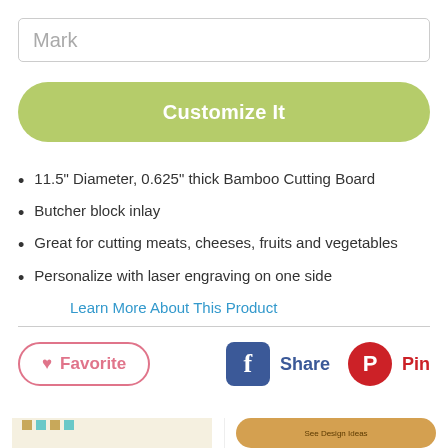Mark
Customize It
11.5" Diameter, 0.625" thick Bamboo Cutting Board
Butcher block inlay
Great for cutting meats, cheeses, fruits and vegetables
Personalize with laser engraving on one side
Learn More About This Product
Favorite
Share
Pin
[Figure (photo): Product thumbnail image showing a cutting board with patterned design]
[Figure (photo): Bamboo circular cutting board with 'See Design Ideas' text overlay]